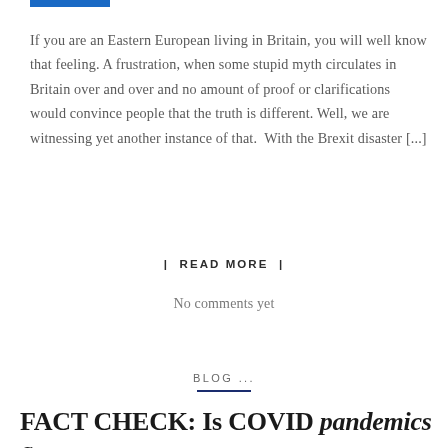[Figure (other): Blue horizontal bar/label at top of article section]
If you are an Eastern European living in Britain, you will well know that feeling. A frustration, when some stupid myth circulates in Britain over and over and no amount of proof or clarifications would convince people that the truth is different. Well, we are witnessing yet another instance of that.  With the Brexit disaster [...]
| READ MORE |
No comments yet
BLOG ...
FACT CHECK: Is COVID pandemics a